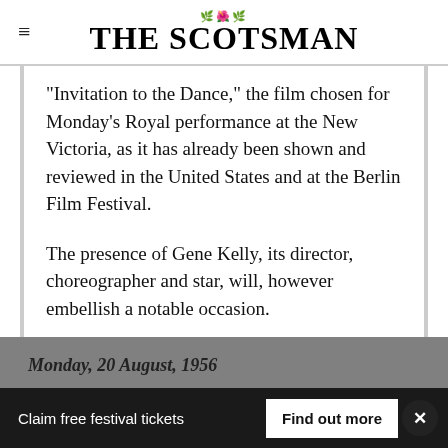THE SCOTSMAN
“Invitation to the Dance,” the film chosen for Monday’s Royal performance at the New Victoria, as it has already been shown and reviewed in the United States and at the Berlin Film Festival.
The presence of Gene Kelly, its director, choreographer and star, will, however embellish a notable occasion.
Monday, 20 August, 1956
Claim free festival tickets
Find out more